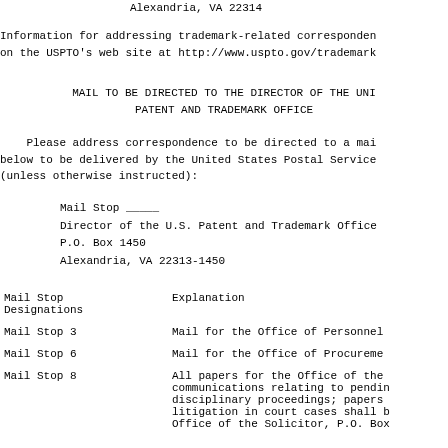Alexandria, VA 22314
Information for addressing trademark-related corresponden
on the USPTO's web site at http://www.uspto.gov/trademark
MAIL TO BE DIRECTED TO THE DIRECTOR OF THE UNI
PATENT AND TRADEMARK OFFICE
Please address correspondence to be directed to a mai
below to be delivered by the United States Postal Service
(unless otherwise instructed):
Mail Stop _____
Director of the U.S. Patent and Trademark Office
P.O. Box 1450
Alexandria, VA 22313-1450
| Mail Stop
Designations | Explanation |
| --- | --- |
| Mail Stop 3 | Mail for the Office of Personnel |
| Mail Stop 6 | Mail for the Office of Procurement |
| Mail Stop 8 | All papers for the Office of the
communications relating to pendin
disciplinary proceedings; papers
litigation in court cases shall b
Office of the Solicitor, P.O. Box |